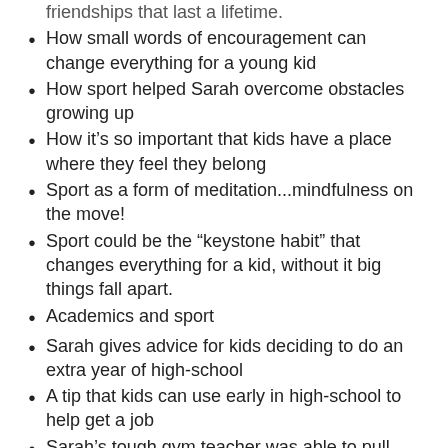friendships that last a lifetime.
How small words of encouragement can change everything for a young kid
How sport helped Sarah overcome obstacles growing up
How it's so important that kids have a place where they feel they belong
Sport as a form of meditation...mindfulness on the move!
Sport could be the “keystone habit” that changes everything for a kid, without it big things fall apart.
Academics and sport
Sarah gives advice for kids deciding to do an extra year of high-school
A tip that kids can use early in high-school to help get a job
Sarah’s tough gym teacher was able to pull more out of Sarah to help her
The influence of good coaches